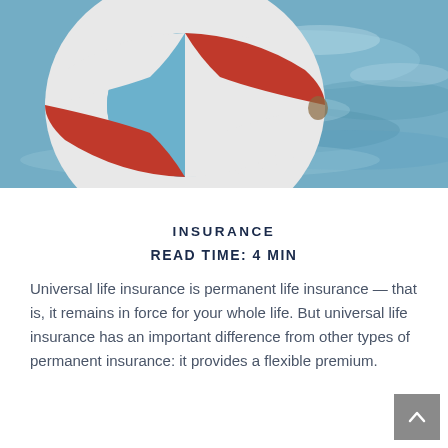[Figure (photo): A red and white life preserver ring floating on blue ocean water, photographed at close range with water visible in the background.]
INSURANCE
READ TIME: 4 MIN
Universal life insurance is permanent life insurance — that is, it remains in force for your whole life. But universal life insurance has an important difference from other types of permanent insurance: it provides a flexible premium.